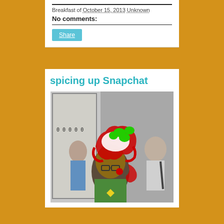Breakfast of October 15, 2013 Unknown
No comments:
Share
spicing up Snapchat
[Figure (photo): Photo of a woman on a subway/metro car with red doodles drawn on her head area resembling a cartoon hat or hair, and green spots above. Other commuters visible in background. A yellow diamond shape visible on her shirt.]